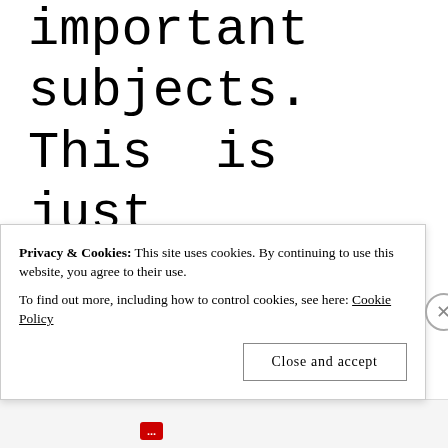important subjects. This is just a small portion of why our inability to end hunger is not a problem of the "not enough to go around" myth. Remember this is
Privacy & Cookies: This site uses cookies. By continuing to use this website, you agree to their use. To find out more, including how to control cookies, see here: Cookie Policy